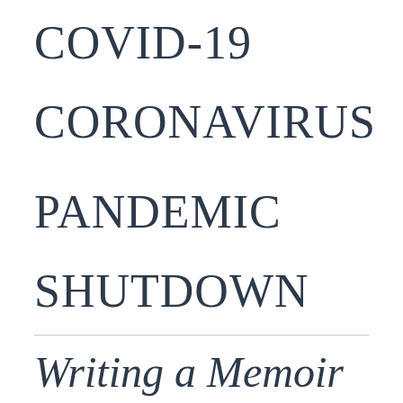COVID-19
CORONAVIRUS
PANDEMIC
SHUTDOWN
Writing a Memoir